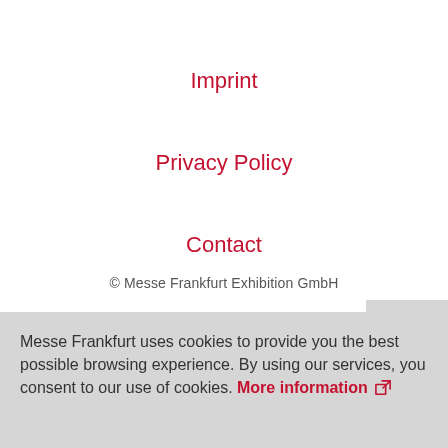Imprint
Privacy Policy
Contact
© Messe Frankfurt Exhibition GmbH
Messe Frankfurt uses cookies to provide you the best possible browsing experience. By using our services, you consent to our use of cookies. More information